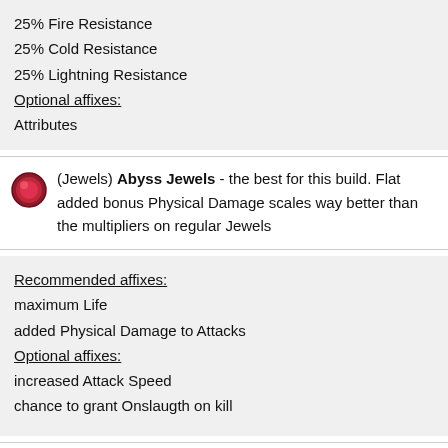25% Fire Resistance
25% Cold Resistance
25% Lightning Resistance
Optional affixes:
Attributes
(Jewels) Abyss Jewels - the best for this build. Flat added bonus Physical Damage scales way better than the multipliers on regular Jewels
Recommended affixes:
maximum Life
added Physical Damage to Attacks
Optional affixes:
increased Attack Speed
chance to grant Onslaugth on kill
(Jewels) Rare Jewels